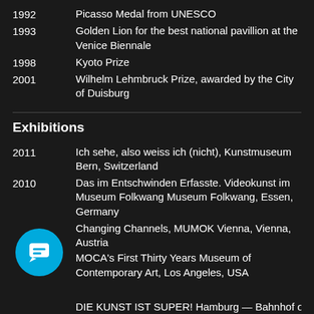1992  Picasso Medal from UNESCO
1993  Golden Lion for the best national pavillion at the Venice Biennale
1998  Kyoto Prize
2001  Wilhelm Lehmbruck Prize, awarded by the City of Duisburg
Exhibitions
2011  Ich sehe, also weiss ich (nicht), Kunstmuseum Bern, Switzerland
2010  Das im Entschwinden Erfasste. Videokunst im Museum Folkwang Museum Folkwang, Essen, Germany
Changing Channels, MUMOK Vienna, Vienna, Austria
MOCA’s First Thirty Years Museum of Contemporary Art, Los Angeles, USA
DIE KUNST IST SUPER! ...